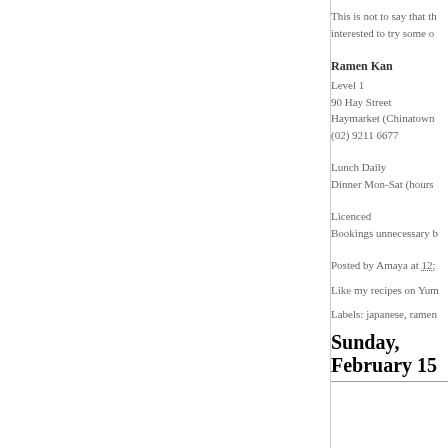This is not to say that th... interested to try some o...
Ramen Kan
Level 1
90 Hay Street
Haymarket (Chinatown)
(02) 9211 6677
Lunch Daily
Dinner Mon-Sat (hours...
Licenced
Bookings unnecessary b...
Posted by Amaya at 12:...
Like my recipes on Yum...
Labels: japanese, ramen...
Sunday, February 15